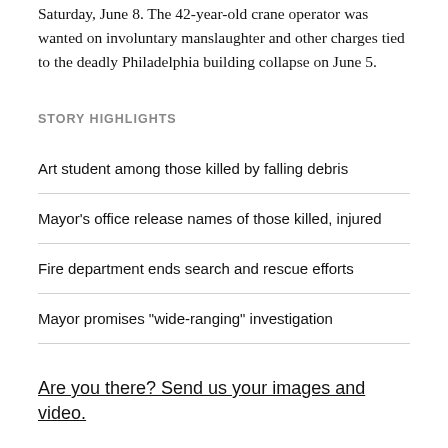Saturday, June 8. The 42-year-old crane operator was wanted on involuntary manslaughter and other charges tied to the deadly Philadelphia building collapse on June 5.
STORY HIGHLIGHTS
Art student among those killed by falling debris
Mayor's office release names of those killed, injured
Fire department ends search and rescue efforts
Mayor promises "wide-ranging" investigation
Are you there? Send us your images and video.
Philadelphia (CNN) — Her family says she was